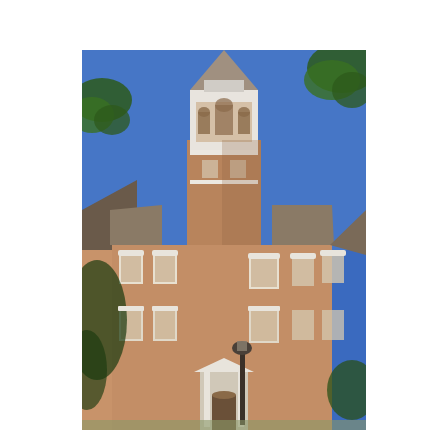[Figure (photo): Exterior photograph of a multi-story red brick academic building with a central white clock tower/cupola featuring arched windows and ornate detailing. The building has white-trimmed windows arranged in a Georgian or Colonial Revival style. A lamp post stands in front of the entrance. Tree branches with green leaves are visible in the upper corners. The sky is a clear deep blue.]